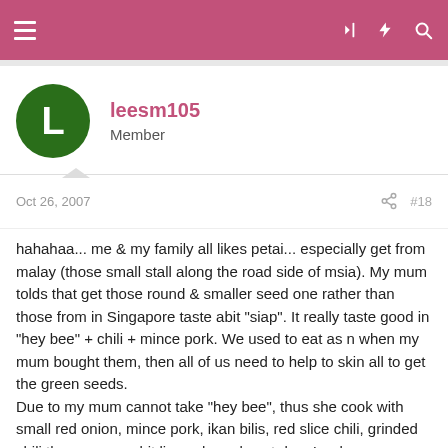leesm105 forum post header navigation bar
leesm105
Member
Oct 26, 2007
#18
hahahaa... me & my family all likes petai... especially get from malay (those small stall along the road side of msia). My mum tolds that get those round & smaller seed one rather than those from in Singapore taste abit "siap". It really taste good in "hey bee" + chili + mince pork. We used to eat as n when my mum bought them, then all of us need to help to skin all to get the green seeds.
Due to my mum cannot take "hey bee", thus she cook with small red onion, mince pork, ikan bilis, red slice chili, grinded chili then squezz abit lime when almost done!:red:
Aiyo... saliva drooling liao....